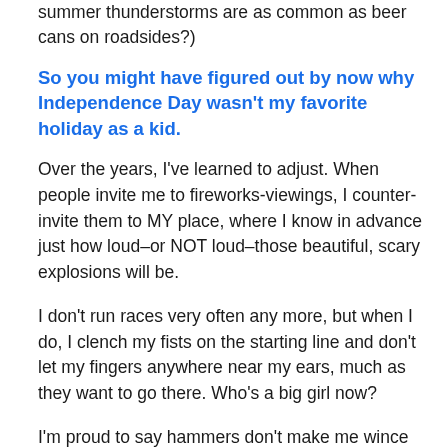summer thunderstorms are as common as beer cans on roadsides?)
So you might have figured out by now why Independence Day wasn't my favorite holiday as a kid.
Over the years, I've learned to adjust. When people invite me to fireworks-viewings, I counter-invite them to MY place, where I know in advance just how loud–or NOT loud–those beautiful, scary explosions will be.
I don't run races very often any more, but when I do, I clench my fists on the starting line and don't let my fingers anywhere near my ears, much as they want to go there. Who's a big girl now?
I'm proud to say hammers don't make me wince any more. Baby steps!